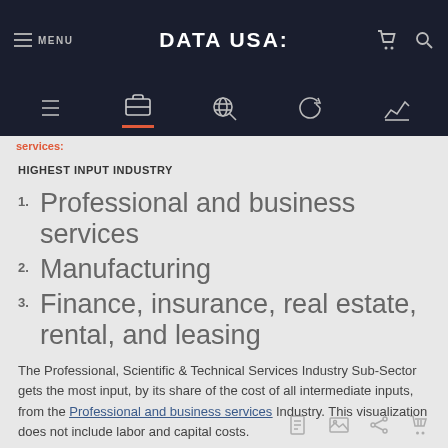MENU  DATA USA:
HIGHEST INPUT INDUSTRY
1. Professional and business services
2. Manufacturing
3. Finance, insurance, real estate, rental, and leasing
The Professional, Scientific & Technical Services Industry Sub-Sector gets the most input, by its share of the cost of all intermediate inputs, from the Professional and business services Industry. This visualization does not include labor and capital costs.